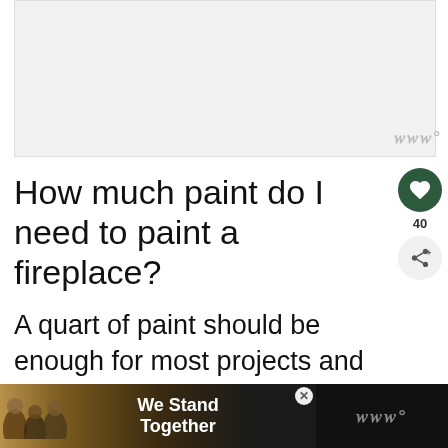[Figure (other): Advertisement banner placeholder with light gray background and watermark logo in bottom right corner]
How much paint do I need to paint a fireplace?
A quart of paint should be enough for most projects and you could probably get away with a pint if all you have is a small fireplace surround.
[Figure (other): Bottom advertisement banner with dark background showing group of people from behind with text 'We Stand Together' and a close button]
WHAT'S NEXT → 9 No-Fail Revival Pai...